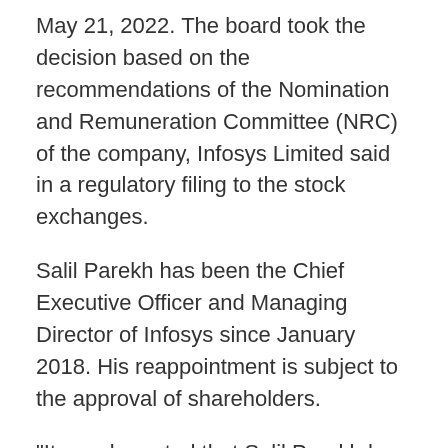May 21, 2022. The board took the decision based on the recommendations of the Nomination and Remuneration Committee (NRC) of the company, Infosys Limited said in a regulatory filing to the stock exchanges.
Salil Parekh has been the Chief Executive Officer and Managing Director of Infosys since January 2018. His reappointment is subject to the approval of shareholders.
"It may be noted that Salil Parekh has no relationship with any member of the Board of directors and meets all the